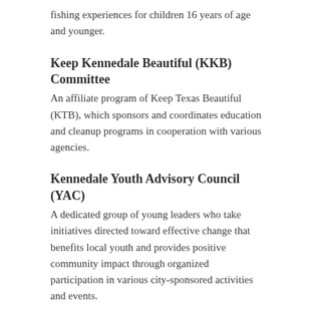fishing experiences for children 16 years of age and younger.
Keep Kennedale Beautiful (KKB) Committee
An affiliate program of Keep Texas Beautiful (KTB), which sponsors and coordinates education and cleanup programs in cooperation with various agencies.
Kennedale Youth Advisory Council (YAC)
A dedicated group of young leaders who take initiatives directed toward effective change that benefits local youth and provides positive community impact through organized participation in various city-sponsored activities and events.
Kennedale Theatre in the Park
Support this local theatre group that performs in TownCenter Park.